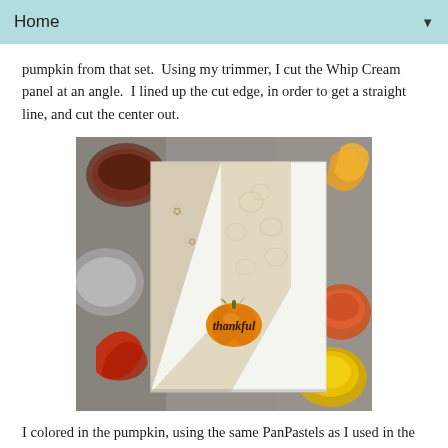Home
pumpkin from that set.  Using my trimmer, I cut the Whip Cream panel at an angle.  I lined up the cut edge, in order to get a straight line, and cut the center out.
[Figure (photo): A handmade greeting card with a white background featuring an orange pumpkin with green leaves and the word 'thankful' written in script. The card has a diagonal tan/beige strip and pumpkin-stamped pattern. Surrounding the card are craft supplies including small containers of paint/ink in orange, yellow, and brown tones, and red autumn leaves.]
I colored in the pumpkin, using the same PanPastels as I used in the first card.  Then I adhered the card together, and added a few Nuvo drops around the pumpkin.